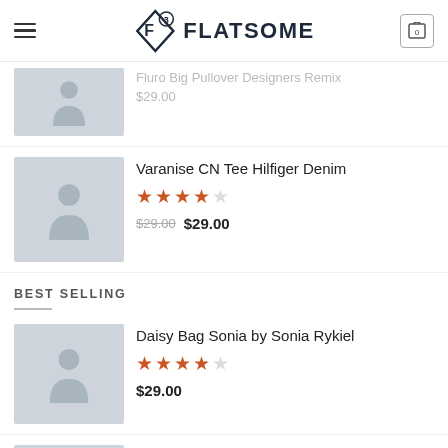Flatsome — navigation bar with hamburger menu, logo, and cart
Fluro Big Pullover Designers Remix
$29.00
Varanise CN Tee Hilfiger Denim
Rating: 4 out of 5 stars
$29.00  $29.00
BEST SELLING
Daisy Bag Sonia by Sonia Rykiel
Rating: 4 out of 5 stars
$29.00
On1 Jersey UNIF
Rating: 5 out of 5 stars
$29.00
Beyond Top NLY Trend